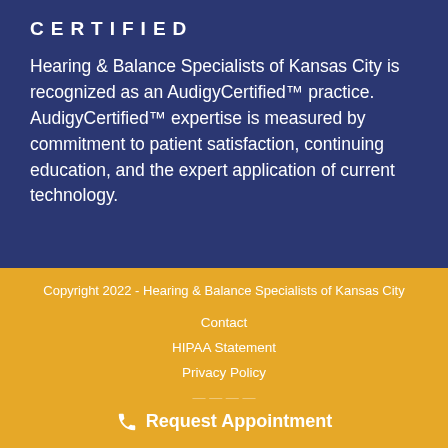[Figure (logo): Audigy Certified logo text — white uppercase letters spelling CERTIFIED with letter spacing]
Hearing & Balance Specialists of Kansas City is recognized as an AudigyCertified™ practice. AudigyCertified™ expertise is measured by commitment to patient satisfaction, continuing education, and the expert application of current technology.
Copyright 2022 - Hearing & Balance Specialists of Kansas City
Contact
HIPAA Statement
Privacy Policy
Request Appointment